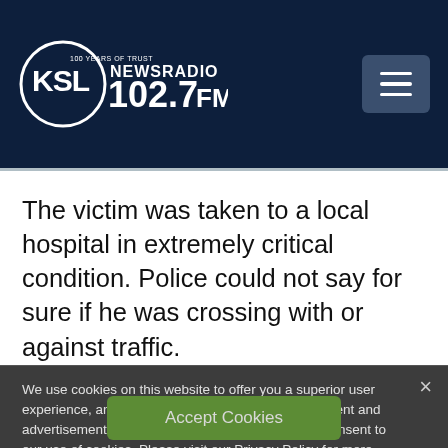[Figure (logo): KSL NewsRadio 102.7 FM logo — circular logo with KSL text and '100 YEARS OF TRUST', 'NEWSRADIO 102.7FM' text]
The victim was taken to a local hospital in extremely critical condition. Police could not say for sure if he was crossing with or against traffic.
We use cookies on this website to offer you a superior user experience, analyze site traffic, and personalize content and advertisements. By continuing to use our site, you consent to our use of cookies. Please visit our Privacy Policy for more information.
Accept Cookies